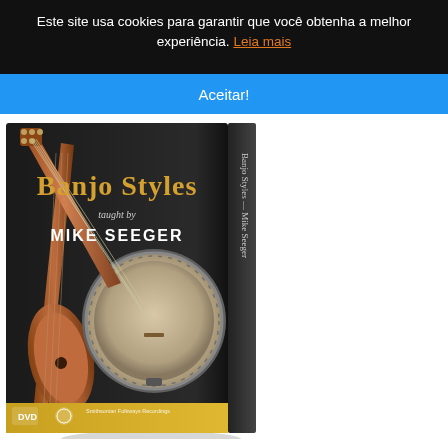Este site usa cookies para garantir que você obtenha a melhor experiência. Leia mais
Aceitar!
[Figure (photo): DVD case for 'Banjo Styles taught by Mike Seeger' showing two banjo instruments on a dark background with a yellow bar at the bottom.]